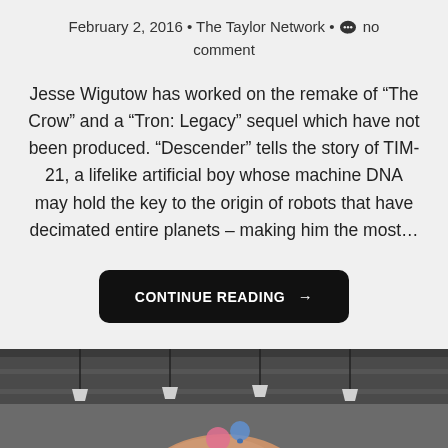February 2, 2016 • The Taylor Network • no comment
Jesse Wigutow has worked on the remake of “The Crow” and a “Tron: Legacy” sequel which have not been produced. “Descender” tells the story of TIM-21, a lifelike artificial boy whose machine DNA may hold the key to the origin of robots that have decimated entire planets – making him the most…
CONTINUE READING →
[Figure (photo): A photo showing a bald person's head from above, with ceiling lights visible in the background.]